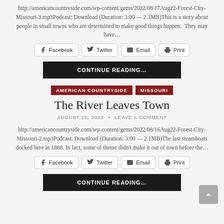http://americancountryside.com/wp-content/gems/2022/08/17Aug22-Forest-City-Missouri-3.mp3Podcast: Download (Duration: 3:00 — 2.1MB)This is a story about people in small towns who are determined to make good things happen.  They may have…
Facebook
Twitter
Email
Print
CONTINUE READING…
AMERICAN COUNTRYSIDE
MISSOURI
The River Leaves Town
AUGUST 16, 2022  •  LEAVE A COMMENT
http://americancountryside.com/wp-content/gems/2022/08/16Aug22-Forest-City-Missouri-2.mp3Podcast: Download (Duration: 3:00 — 2.1MB)The last steamboats docked here in 1868. In fact, some of theme didn't make it out of town before the…
Facebook
Twitter
Email
Print
CONTINUE READING…